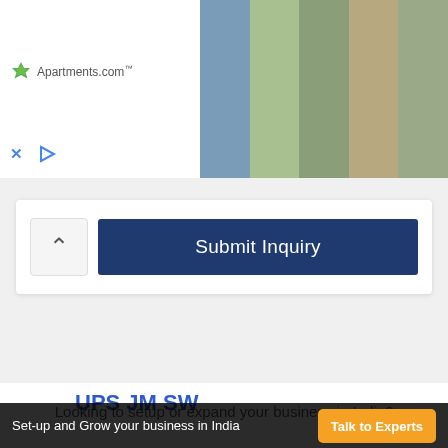[Figure (screenshot): Apartments.com advertisement banner with logo on left side and property photos strip on right side, with X and play controls at bottom left]
[Figure (screenshot): Submit Inquiry form section with chevron up button and a dark navy blue Submit Inquiry button]
UPS JM SW
[Figure (photo): Dark grey/black UPS device (Uninterruptible Power Supply) unit with control panel and display]
Looking to setup or expand your business in India?
Set-up and Grow your business in India
[Figure (screenshot): Talk to Experts orange button in bottom bar]